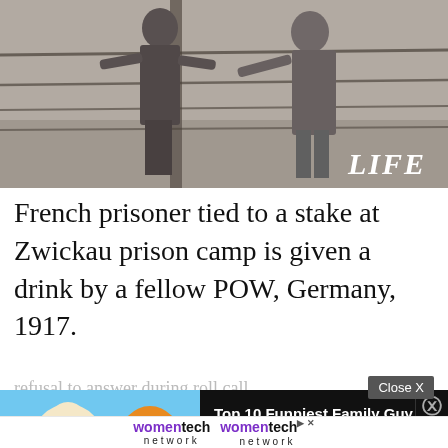[Figure (photo): Black and white historical photograph showing two figures near a wooden stake with barbed wire fence. LIFE magazine logo in bottom right corner.]
French prisoner tied to a stake at Zwickau prison camp is given a drink by a fellow POW, Germany, 1917.
[Figure (screenshot): Video advertisement overlay showing animated characters (Stewie Griffin and Chester Cheetah) with WatchMojo branding, titled 'Top 10 Funniest Family Guy Cutaways']
refusal to answer during roll call
[Figure (logo): WomenTech Network advertisement appearing twice side by side with close button]